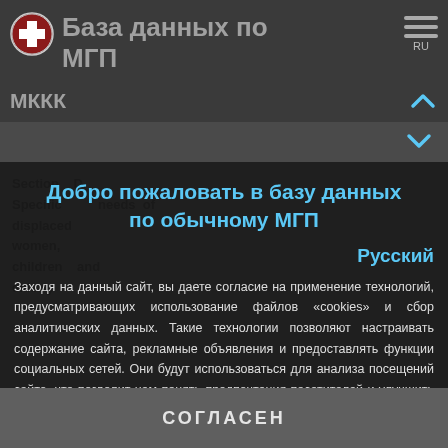База данных по МГП
МККК
Добро пожаловать в базу данных по обычному МГП
Русский
Section D.
Specific needs of displaced women, children and elderly
Заходя на данный сайт, вы даете согласие на применение технологий, предусматривающих использование файлов «cookies» и сбор аналитических данных. Такие технологии позволяют настраивать содержание сайта, рекламные объявления и предоставлять функции социальных сетей. Они будут использоваться для анализа посещений сайта, что позволит нам понять предпочтения посетителей и улучшить предоставляемые услуги. Узнать больше
СОГЛАСЕН